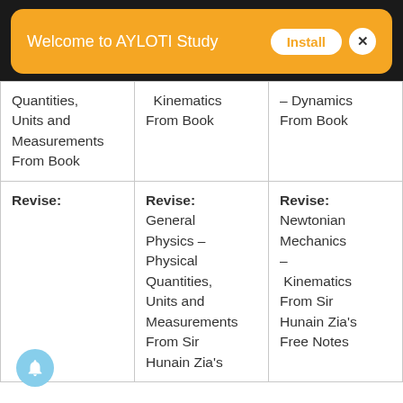[Figure (screenshot): Orange banner with 'Welcome to AYLOTI Study' text, Install button and close button]
| Quantities, Units and Measurements From Book | Kinematics From Book | – Dynamics From Book |
| Revise: | Revise:
General Physics – Physical Quantities, Units and Measurements From Sir Hunain Zia's | Revise:
Newtonian Mechanics – Kinematics From Sir Hunain Zia's Free Notes |